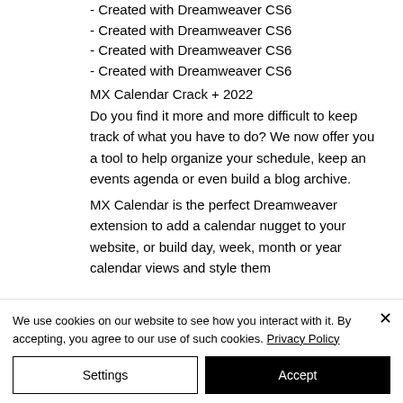- Created with Dreamweaver CS6
- Created with Dreamweaver CS6
- Created with Dreamweaver CS6
- Created with Dreamweaver CS6
MX Calendar Crack + 2022
Do you find it more and more difficult to keep track of what you have to do? We now offer you a tool to help organize your schedule, keep an events agenda or even build a blog archive.
MX Calendar is the perfect Dreamweaver extension to add a calendar nugget to your website, or build day, week, month or year calendar views and style them
We use cookies on our website to see how you interact with it. By accepting, you agree to our use of such cookies. Privacy Policy
Settings
Accept